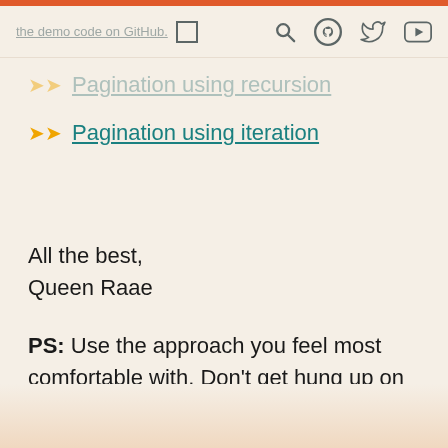the demo code on GitHub. [navigation icons: search, github, twitter, youtube]
Pagination using recursion
Pagination using iteration
All the best,
Queen Raae
PS: Use the approach you feel most comfortable with. Don't get hung up on tech-bros arguing one over the other!